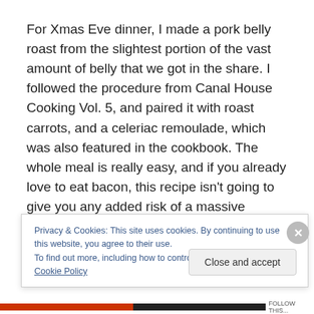For Xmas Eve dinner, I made a pork belly roast from the slightest portion of the vast amount of belly that we got in the share. I followed the procedure from Canal House Cooking Vol. 5, and paired it with roast carrots, and a celeriac remoulade, which was also featured in the cookbook. The whole meal is really easy, and if you already love to eat bacon, this recipe isn't going to give you any added risk of a massive coronary heart attack.
Privacy & Cookies: This site uses cookies. By continuing to use this website, you agree to their use.
To find out more, including how to control cookies, see here: Cookie Policy